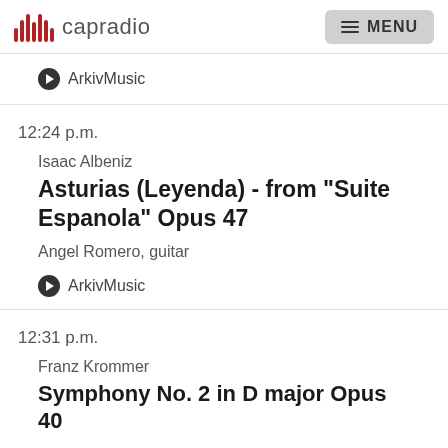capradio  MENU
ArkivMusic
12:24 p.m.
Isaac Albeniz
Asturias (Leyenda) - from "Suite Espanola" Opus 47
Angel Romero, guitar
ArkivMusic
12:31 p.m.
Franz Krommer
Symphony No. 2 in D major Opus 40